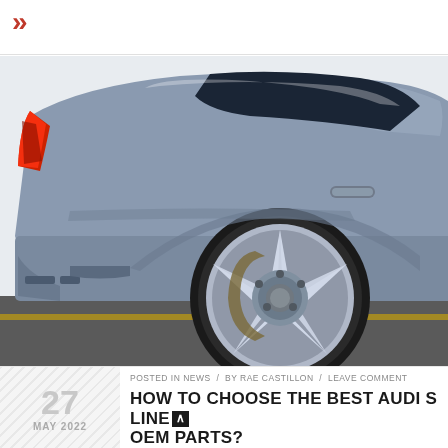[Figure (photo): Close-up rear quarter view of a silver/grey Audi S Line sedan, showing the rear wheel with multi-spoke alloy rim, rear taillight, door handle, and trunk lid against a light background]
POSTED IN NEWS / BY RAE CASTILLON / LEAVE COMMENT
27
MAY 2022
HOW TO CHOOSE THE BEST AUDI S LINE OEM PARTS?